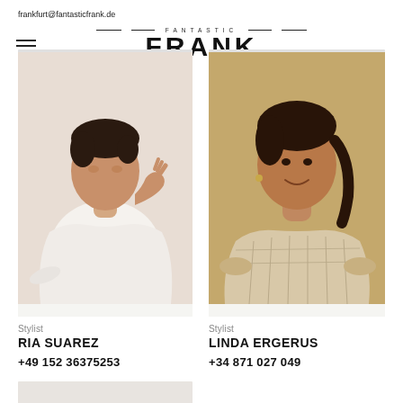frankfurt@fantasticfrank.de
[Figure (logo): Fantastic Frank logo with hamburger menu icon]
[Figure (photo): Photo of stylist Ria Suarez in white off-shoulder top]
[Figure (photo): Photo of stylist Linda Ergerus in patterned blouse]
Stylist
RIA SUAREZ
+49 152 36375253
Stylist
LINDA ERGERUS
+34 871 027 049
info@fantasticfrank.de